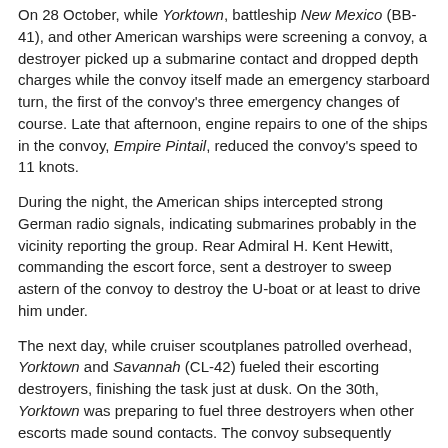On 28 October, while Yorktown, battleship New Mexico (BB-41), and other American warships were screening a convoy, a destroyer picked up a submarine contact and dropped depth charges while the convoy itself made an emergency starboard turn, the first of the convoy's three emergency changes of course. Late that afternoon, engine repairs to one of the ships in the convoy, Empire Pintail, reduced the convoy's speed to 11 knots.
During the night, the American ships intercepted strong German radio signals, indicating submarines probably in the vicinity reporting the group. Rear Admiral H. Kent Hewitt, commanding the escort force, sent a destroyer to sweep astern of the convoy to destroy the U-boat or at least to drive him under.
The next day, while cruiser scoutplanes patrolled overhead, Yorktown and Savannah (CL-42) fueled their escorting destroyers, finishing the task just at dusk. On the 30th, Yorktown was preparing to fuel three destroyers when other escorts made sound contacts. The convoy subsequently made 10 emergency turns while Morris (DD-417) and Anderson (DD-411) dropped depth charges, and Hughes (DD-410) assisted in developing the contact. Anderson later made two more depth charge attacks, noticing "considerable oil with slick spreading but no wreckage."